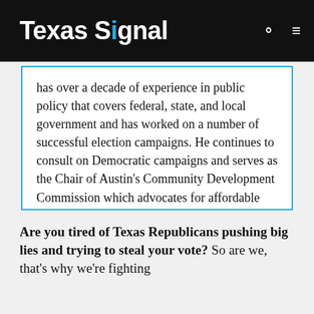Texas Signal
has over a decade of experience in public policy that covers federal, state, and local government and has worked on a number of successful election campaigns. He continues to consult on Democratic campaigns and serves as the Chair of Austin's Community Development Commission which advocates for affordable housing and solutions for homelessness.
Are you tired of Texas Republicans pushing big lies and trying to steal your vote? So are we, that's why we're fighting